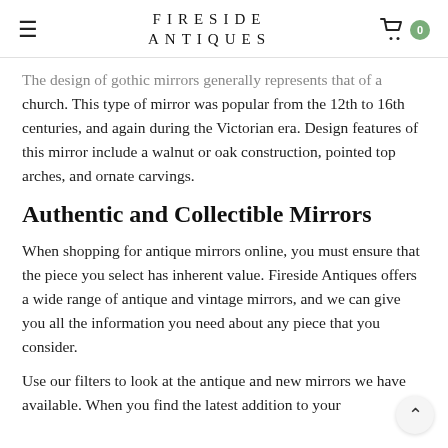FIRESIDE ANTIQUES
The design of gothic mirrors generally represents that of a church. This type of mirror was popular from the 12th to 16th centuries, and again during the Victorian era. Design features of this mirror include a walnut or oak construction, pointed top arches, and ornate carvings.
Authentic and Collectible Mirrors
When shopping for antique mirrors online, you must ensure that the piece you select has inherent value. Fireside Antiques offers a wide range of antique and vintage mirrors, and we can give you all the information you need about any piece that you consider.
Use our filters to look at the antique and new mirrors we have available. When you find the latest addition to your